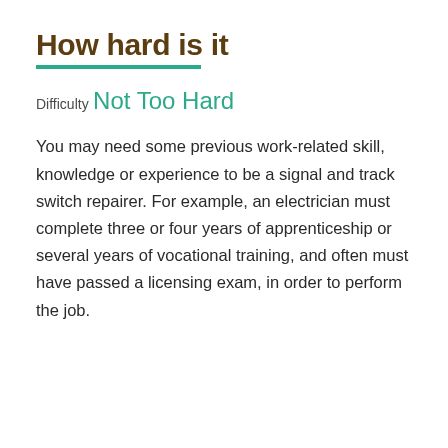How hard is it
Difficulty
Not Too Hard
You may need some previous work-related skill, knowledge or experience to be a signal and track switch repairer. For example, an electrician must complete three or four years of apprenticeship or several years of vocational training, and often must have passed a licensing exam, in order to perform the job.